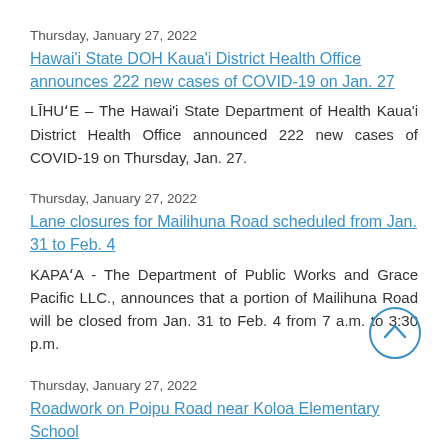Thursday, January 27, 2022
Hawai'i State DOH Kaua'i District Health Office announces 222 new cases of COVID-19 on Jan. 27
LĪHU'E – The Hawai'i State Department of Health Kaua'i District Health Office announced 222 new cases of COVID-19 on Thursday, Jan. 27.
Thursday, January 27, 2022
Lane closures for Mailihuna Road scheduled from Jan. 31 to Feb. 4
KAPA'A - The Department of Public Works and Grace Pacific LLC., announces that a portion of Mailihuna Road will be closed from Jan. 31 to Feb. 4 from 7 a.m. to 3:30 p.m.
[Figure (other): Circular scroll-to-top button with upward chevron arrow]
Thursday, January 27, 2022
Roadwork on Poipu Road near Koloa Elementary School